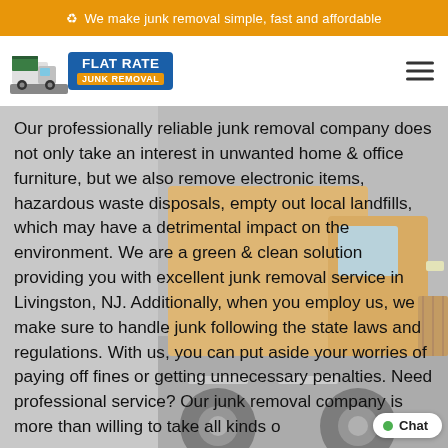We make junk removal simple, fast and affordable
[Figure (logo): Flat Rate Junk Removal company logo with truck icon and blue/orange text]
Our professionally reliable junk removal company does not only take an interest in unwanted home & office furniture, but we also remove electronic items, hazardous waste disposals, empty out local landfills, which may have a detrimental impact on the environment. We are a green & clean solution providing you with excellent junk removal service in Livingston, NJ. Additionally, when you employ us, we make sure to handle junk following the state laws and regulations. With us, you can put aside your worries of paying off fines or getting unnecessary penalties. Need professional service? Our junk removal company is more than willing to take all kinds o